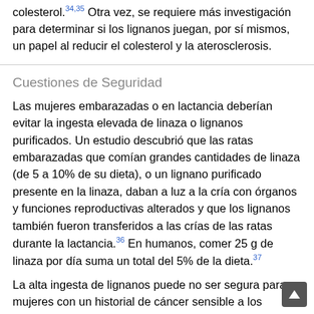colesterol.34,35 Otra vez, se requiere más investigación para determinar si los lignanos juegan, por sí mismos, un papel al reducir el colesterol y la aterosclerosis.
Cuestiones de Seguridad
Las mujeres embarazadas o en lactancia deberían evitar la ingesta elevada de linaza o lignanos purificados. Un estudio descubrió que las ratas embarazadas que comían grandes cantidades de linaza (de 5 a 10% de su dieta), o un lignano purificado presente en la linaza, daban a luz a la cría con órganos y funciones reproductivas alterados y que los lignanos también fueron transferidos a las crías de las ratas durante la lactancia.36 En humanos, comer 25 g de linaza por día suma un total del 5% de la dieta.37
La alta ingesta de lignanos puede no ser segura para mujeres con un historial de cáncer sensible a los estrógenos, tal como cáncer de seno o uterino. Unos cuantos estudios de laboratorio sugieren que ciertas células cancerosas pueden ser estimuladas por los lignanos como los presentes en la linaza.38 Otros